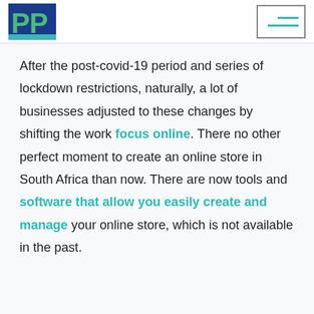[Figure (logo): Green and blue 'PP' logo block in top left header]
[Figure (other): Menu icon box with teal horizontal lines in top right header]
After the post-covid-19 period and series of lockdown restrictions, naturally, a lot of businesses adjusted to these changes by shifting the work focus online. There no other perfect moment to create an online store in South Africa than now. There are now tools and software that allow you easily create and manage your online store, which is not available in the past.